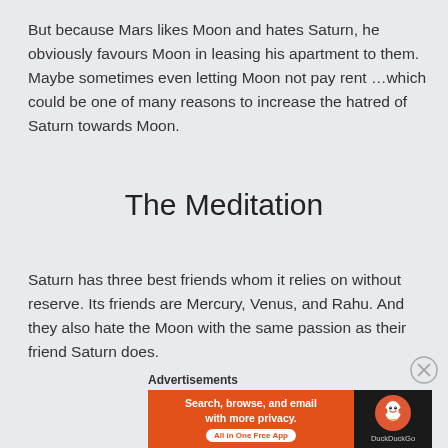But because Mars likes Moon and hates Saturn, he obviously favours Moon in leasing his apartment to them. Maybe sometimes even letting Moon not pay rent …which could be one of many reasons to increase the hatred of Saturn towards Moon.
The Meditation
Saturn has three best friends whom it relies on without reserve. Its friends are Mercury, Venus, and Rahu. And they also hate the Moon with the same passion as their friend Saturn does.
Advertisements
[Figure (other): DuckDuckGo advertisement banner with orange background on left reading 'Search, browse, and email with more privacy. All in One Free App' and dark background on right with DuckDuckGo logo and name.]